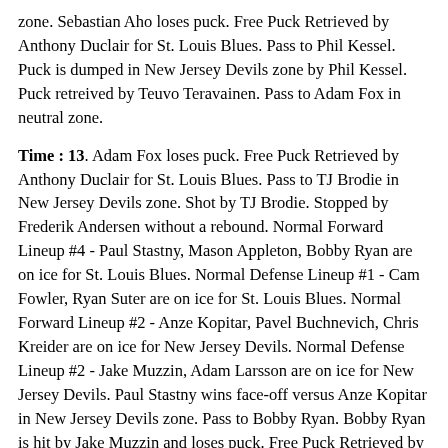zone. Sebastian Aho loses puck. Free Puck Retrieved by Anthony Duclair for St. Louis Blues. Pass to Phil Kessel. Puck is dumped in New Jersey Devils zone by Phil Kessel. Puck retreived by Teuvo Teravainen. Pass to Adam Fox in neutral zone.
Time : 13. Adam Fox loses puck. Free Puck Retrieved by Anthony Duclair for St. Louis Blues. Pass to TJ Brodie in New Jersey Devils zone. Shot by TJ Brodie. Stopped by Frederik Andersen without a rebound. Normal Forward Lineup #4 - Paul Stastny, Mason Appleton, Bobby Ryan are on ice for St. Louis Blues. Normal Defense Lineup #1 - Cam Fowler, Ryan Suter are on ice for St. Louis Blues. Normal Forward Lineup #2 - Anze Kopitar, Pavel Buchnevich, Chris Kreider are on ice for New Jersey Devils. Normal Defense Lineup #2 - Jake Muzzin, Adam Larsson are on ice for New Jersey Devils. Paul Stastny wins face-off versus Anze Kopitar in New Jersey Devils zone. Pass to Bobby Ryan. Bobby Ryan is hit by Jake Muzzin and loses puck. Free Puck Retrieved by Adam Larsson for New Jersey Devils. Pass by Adam Larsson intercepted by Ryan Suter in neutral zone. Pass by Ryan Suter intercepted by Pavel Buchnevich. Pass to Chris Kreider. Pass to Jake Muzzin in St. Louis Blues zone. Pass by Jake Muzzin intercepted by Cam Fowler. Pass to Bobby Ryan in neutral zone. Off-side. Normal Forward Lineup #1 - Logan Couture, Taylor Hall, Blake Wheeler are on ice for St. Louis Blues. Normal Defense Lineup #3 - Mike Matheson, Dante Fabbro are on ice for St. Louis